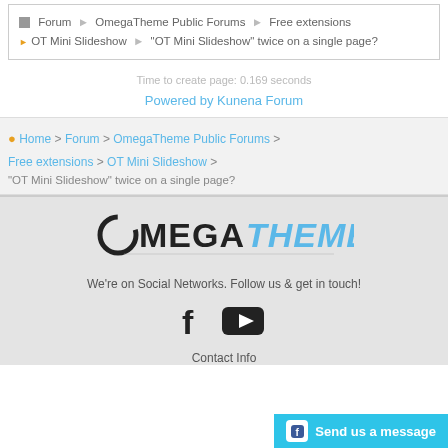Forum ▶ OmegaTheme Public Forums ▶ Free extensions ▶ OT Mini Slideshow ▶ "OT Mini Slideshow" twice on a single page?
Time to create page: 0.169 seconds
Powered by Kunena Forum
Home > Forum > OmegaTheme Public Forums > Free extensions > OT Mini Slideshow > "OT Mini Slideshow" twice on a single page?
[Figure (logo): OmegaTheme logo with OMEGA in black bold and THEME in light blue italic, with a decorative underline]
We're on Social Networks. Follow us & get in touch!
[Figure (illustration): Facebook and YouTube social media icons]
Contact Info
Send us a message